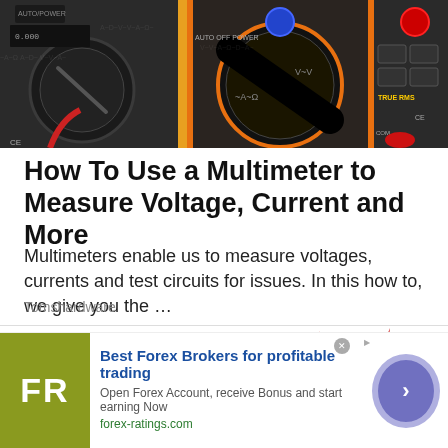[Figure (photo): Close-up photograph of multiple digital multimeters with dials, displays, and test probe connectors visible, set against a colorful background]
How To Use a Multimeter to Measure Voltage, Current and More
Multimeters enable us to measure voltages, currents and test circuits for issues. In this how to, we give you the …
Tomshardware
[Figure (illustration): Lightning bolt illustrations on white background — two red lightning bolt shapes on right side]
Best Forex Brokers for profitable trading
Open Forex Account, receive Bonus and start earning Now
forex-ratings.com